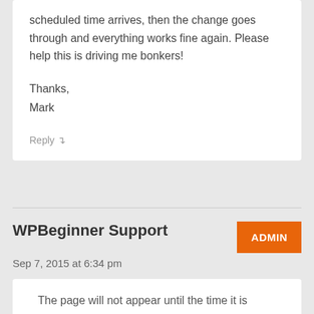scheduled time arrives, then the change goes through and everything works fine again. Please help this is driving me bonkers!
Thanks,
Mark
Reply ↵
WPBeginner Support
Sep 7, 2015 at 6:34 pm
The page will not appear until the time it is scheduled to be published. If you want